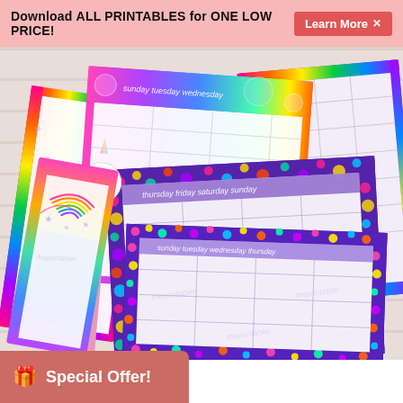Download ALL PRINTABLES for ONE LOW PRICE! Learn More ✕
[Figure (photo): Colorful printable planner sheets with rainbow and neon leopard print borders, unicorn pencil topper, spread out on a white wood surface. The planners show weekly calendar grids with watermarked cursive text.]
🎁 Special Offer!